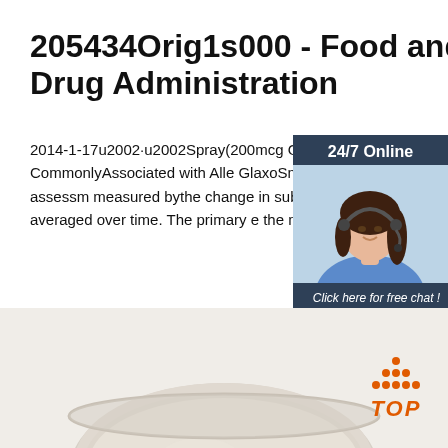205434Orig1s000 - Food and Drug Administration
2014-1-17u2002·u2002Spray(200mcg QD) on OcularSymptoms CommonlyAssociated with Alle GlaxoSmithKline R1810198 ... Efficacy assessm measured bythe change in subject-rated ocular s from baseline averaged over time. The primary e the mean change from baseline in
[Figure (infographic): Advertisement sidebar with '24/7 Online' header, photo of woman with headset, 'Click here for free chat!' text, and 'QUOTATION' orange button]
Get Price
[Figure (photo): Bottom portion of page showing a bowl or plate of white/cream powder substance]
[Figure (infographic): Orange 'TOP' button with dotted triangle/arrow pointing upward]